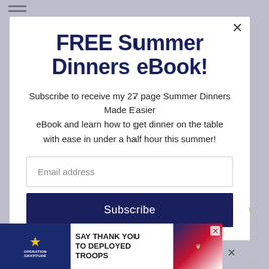FREE Summer Dinners eBook!
Subscribe to receive my 27 page Summer Dinners Made Easier eBook and learn how to get dinner on the table with ease in under a half hour this summer!
Email address
Subscribe
[Figure (screenshot): Advertisement banner for Operation Gratitude: SAY THANK YOU TO DEPLOYED TROOPS, with patriotic imagery including stars, flag motif, and an animated owl character.]